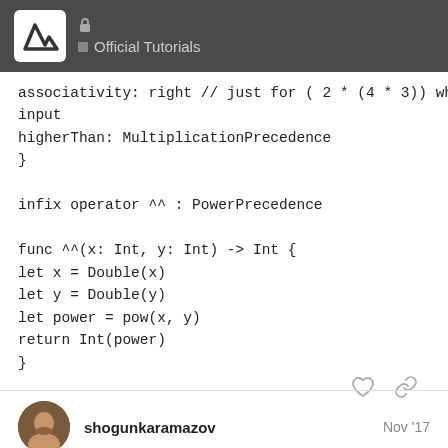Official Tutorials
associativity: right // just for ( 2 * (4 * 3)) when we have three input
higherThan: MultiplicationPrecedence
}

infix operator ^^ : PowerPrecedence

func ^^(x: Int, y: Int) -> Int {
let x = Double(x)
let y = Double(y)
let power = pow(x, y)
return Int(power)
}
shogunkaramazov
Nov '17